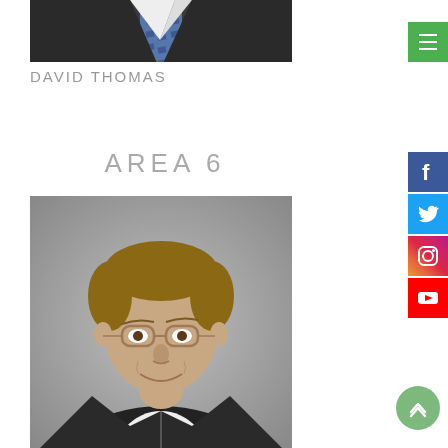[Figure (photo): Partial photo of a man in dark suit and blue tie, cropped at top]
DAVID THOMAS
AREA 6
[Figure (photo): Professional headshot of a middle-aged man with glasses, short hair, wearing a dark pinstripe suit and white shirt, smiling, against a grey background]